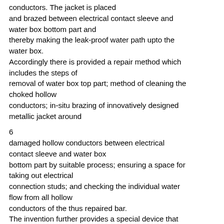conductors. The jacket is placed and brazed between electrical contact sleeve and water box bottom part and thereby making the leak-proof water path upto the water box. Accordingly there is provided a repair method which includes the steps of removal of water box top part; method of cleaning the choked hollow conductors; in-situ brazing of innovatively designed metallic jacket around
6
damaged hollow conductors between electrical contact sleeve and water box bottom part by suitable process; ensuring a space for taking out electrical connection studs; and checking the individual water flow from all hollow conductors of the thus repaired bar. The invention further provides a special device that takes care of uniform heating